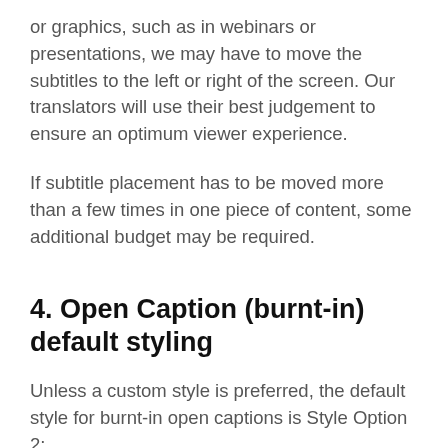or graphics, such as in webinars or presentations, we may have to move the subtitles to the left or right of the screen. Our translators will use their best judgement to ensure an optimum viewer experience.
If subtitle placement has to be moved more than a few times in one piece of content, some additional budget may be required.
4. Open Caption (burnt-in) default styling
Unless a custom style is preferred, the default style for burnt-in open captions is Style Option 2:
Arial Narrow font